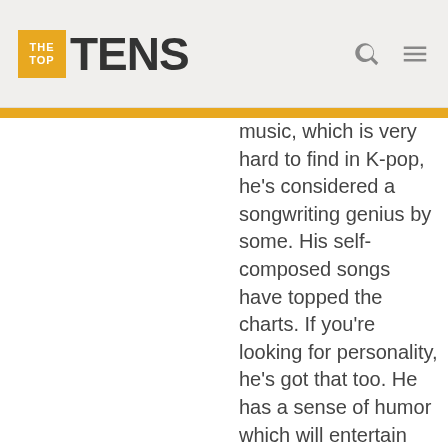TheTopTens
music, which is very hard to find in K-pop, he's considered a songwriting genius by some. His self-composed songs have topped the charts. If you're looking for personality, he's got that too. He has a sense of humor which will entertain you, but he's also a very kind and understanding person and leader to his band members, which all the members have